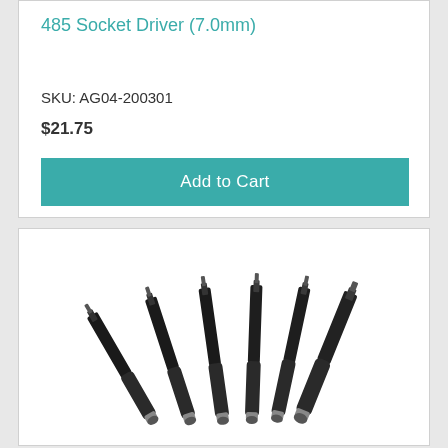485 Socket Driver (7.0mm)
SKU: AG04-200301
$21.75
Add to Cart
[Figure (photo): Set of six black aluminum socket drivers with silver metal shafts and black hexagonal socket tips, arranged in a fan pattern]